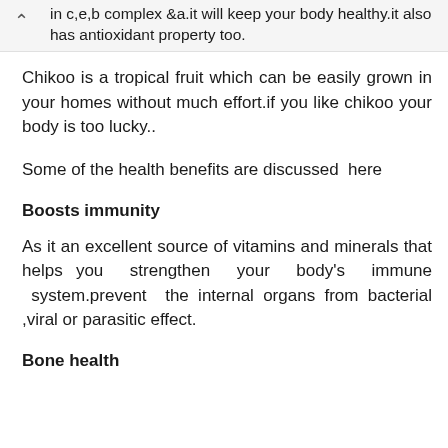in c,e,b complex &a.it will keep your body healthy.it also has antioxidant property too.
Chikoo is a tropical fruit which can be easily grown in your homes without much effort.if you like chikoo your body is too lucky..
Some of the health benefits are discussed  here
Boosts immunity
As it an excellent source of vitamins and minerals that helps you  strengthen  your  body's  immune  system.prevent  the internal organs from bacterial ,viral or parasitic effect.
Bone health